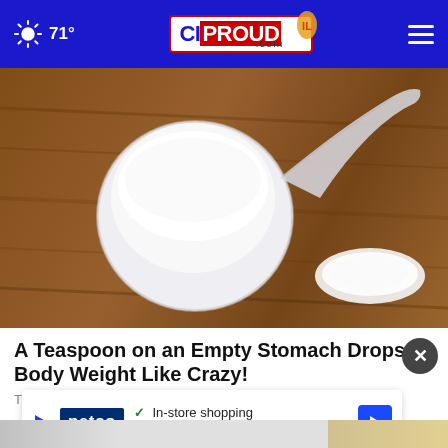☀ 71° | CIProud.com
[Figure (photo): A clear plastic measuring scoop filled with white powder (protein powder or similar supplement), with a small spilled pile of the white powder on a wooden surface background.]
A Teaspoon on an Empty Stomach Drops Body Weight Like Crazy!
Trending
[Figure (photo): Petco advertisement banner: In-store shopping and Curbside pickup, with Petco logo and navigation arrow icon.]